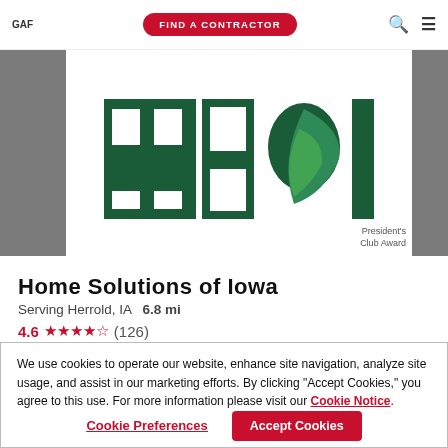GAF | FIND A CONTRACTOR
[Figure (logo): Home Solutions of Iowa logo — dark green block letters with a green leaf shape, on white background with gray side panels]
[Figure (logo): President's Club Award badge]
Home Solutions of Iowa
Serving Herrold, IA   6.8 mi
4.6 ★★★★½ (126)
We use cookies to operate our website, enhance site navigation, analyze site usage, and assist in our marketing efforts. By clicking "Accept Cookies," you agree to this use. For more information please visit our Cookie Notice.
Cookie Preferences
Accept Cookies